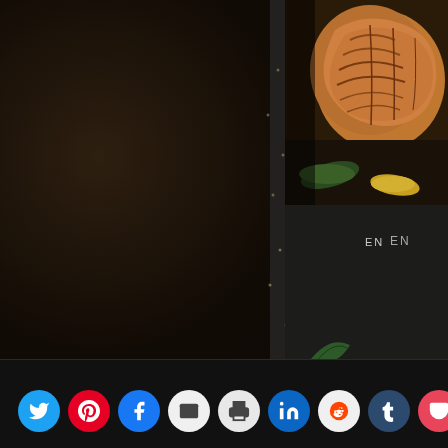[Figure (screenshot): Dark textured background with food/recipe website layout. Top right shows a close-up photo of baked pastry rolls with vegetables on a dark background with scattered dot pattern. Below that is another dark panel with scattered dots and a partial leaf/plant and partial text 'EN'. Bottom strip contains social sharing buttons: Twitter, Pinterest, Facebook, Email, Print, LinkedIn, Reddit, Tumblr, Pocket.]